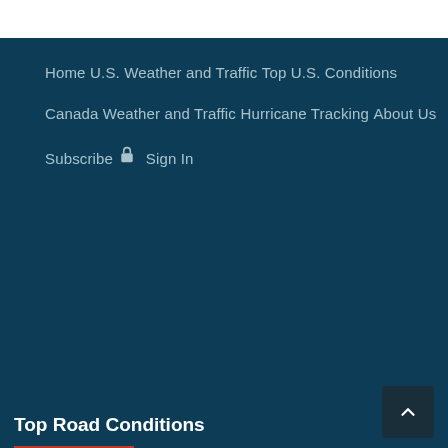Home
U.S. Weather and Traffic
Top U.S. Conditions
Canada Weather and Traffic
Hurricane Tracking
About Us
Subscribe
Sign In
Top Road Conditions